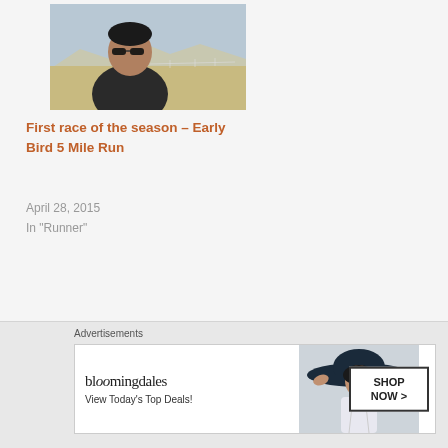[Figure (photo): Outdoor photo of a man wearing sunglasses and dark shirt, with an open landscape and mountains in the background]
First race of the season – Early Bird 5 Mile Run
April 28, 2015
In "Runner"
Advertisements
[Figure (screenshot): Bloomingdale's advertisement banner: 'bloomingdales – View Today's Top Deals!' with a woman in a wide-brim hat and 'SHOP NOW >' button]